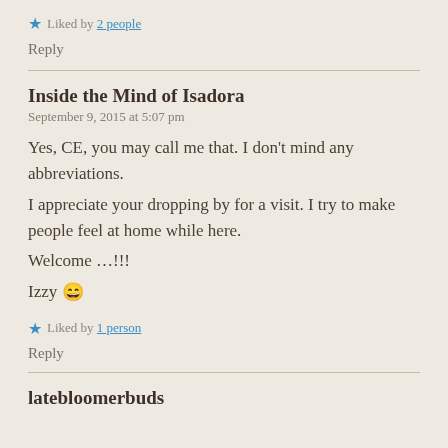★ Liked by 2 people
Reply
Inside the Mind of Isadora
September 9, 2015 at 5:07 pm
Yes, CE, you may call me that. I don't mind any abbreviations.
I appreciate your dropping by for a visit. I try to make people feel at home while here.
Welcome …!!!
Izzy 😄
★ Liked by 1 person
Reply
latebloomerbuds